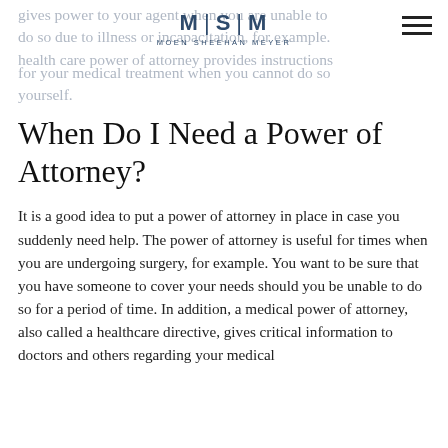M | S | M
MOEN SHEEHAN MEYER
gives power to your agent when you are unable to do so due to illness or incapacitation, for example. A health care power of attorney provides instructions for your medical treatment when you cannot do so yourself.
When Do I Need a Power of Attorney?
It is a good idea to put a power of attorney in place in case you suddenly need help. The power of attorney is useful for times when you are undergoing surgery, for example. You want to be sure that you have someone to cover your needs should you be unable to do so for a period of time. In addition, a medical power of attorney, also called a healthcare directive, gives critical information to doctors and others regarding your medical